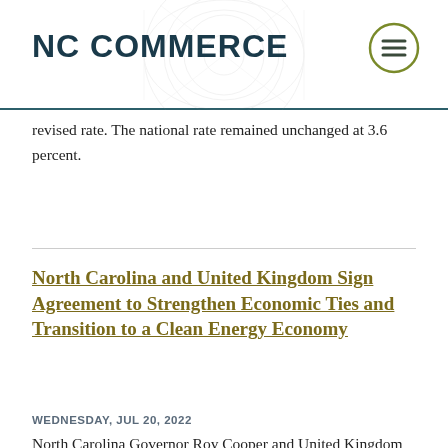NC COMMERCE
revised rate. The national rate remained unchanged at 3.6 percent.
North Carolina and United Kingdom Sign Agreement to Strengthen Economic Ties and Transition to a Clean Energy Economy
WEDNESDAY, JUL 20, 2022
North Carolina Governor Roy Cooper and United Kingdom